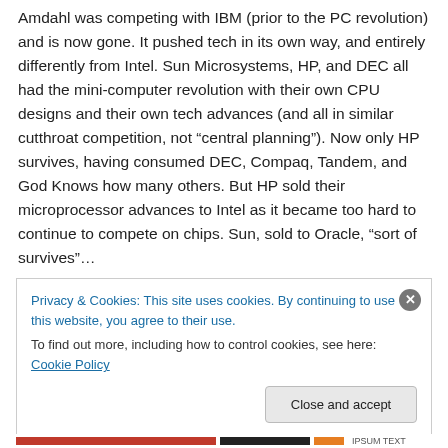Amdahl was competing with IBM (prior to the PC revolution) and is now gone. It pushed tech in its own way, and entirely differently from Intel. Sun Microsystems, HP, and DEC all had the mini-computer revolution with their own CPU designs and their own tech advances (and all in similar cutthroat competition, not “central planning”). Now only HP survives, having consumed DEC, Compaq, Tandem, and God Knows how many others. But HP sold their microprocessor advances to Intel as it became too hard to continue to compete on chips. Sun, sold to Oracle, “sort of survives”…
Privacy & Cookies: This site uses cookies. By continuing to use this website, you agree to their use.
To find out more, including how to control cookies, see here: Cookie Policy